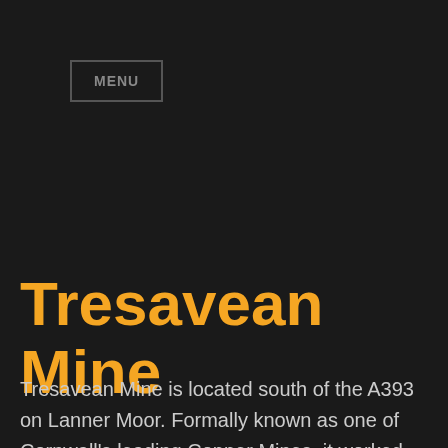MENU
Tresavean Mine
Tresavean Mine is located south of the A393 on Lanner Moor. Formally known as one of Cornwall's leading Copper Mines, it worked from 1815-1928